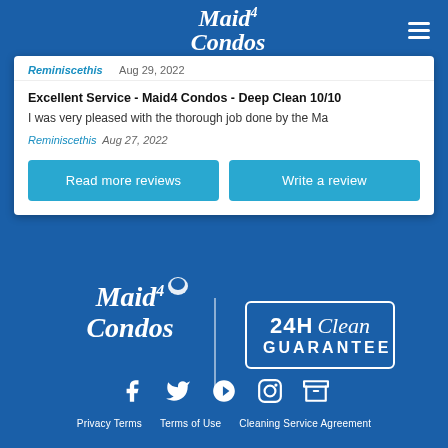Maid4Condos
[Figure (screenshot): Review card showing username 'Reminiscethis', date 'Aug 29, 2022', review title 'Excellent Service - Maid4 Condos - Deep Clean 10/10', partial review text, and two buttons: 'Read more reviews' and 'Write a review']
[Figure (logo): Maid4Condos cursive logo in white on blue background]
[Figure (other): 24H Clean Guarantee badge in white outline box]
[Figure (other): Social media icons: Facebook, Twitter, Yelp, Instagram, and a cube/package icon]
Privacy Terms   Terms of Use   Cleaning Service Agreement